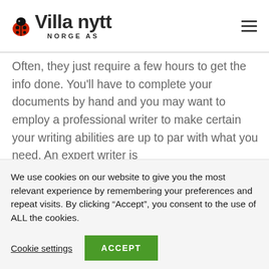Villa nytt NORGE AS
Often, they just require a few hours to get the info done. You'll have to complete your documents by hand and you may want to employ a professional writer to make certain your writing abilities are up to par with what you need. An expert writer is
We use cookies on our website to give you the most relevant experience by remembering your preferences and repeat visits. By clicking “Accept”, you consent to the use of ALL the cookies.
Cookie settings
ACCEPT